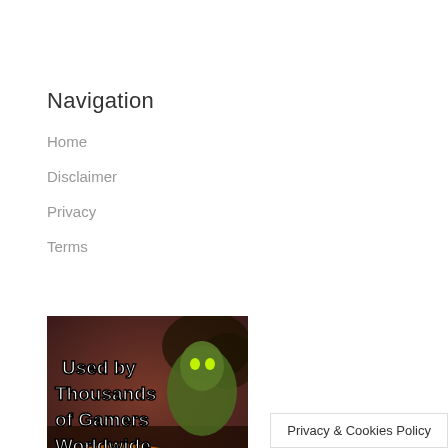Navigation
Home
Disclaimer
Privacy
Terms
[Figure (illustration): Gaming advertisement banner with dark fantasy background showing a creature, with white bold text reading 'Used by Thousands of Gamers Worldwide']
Privacy & Cookies Policy